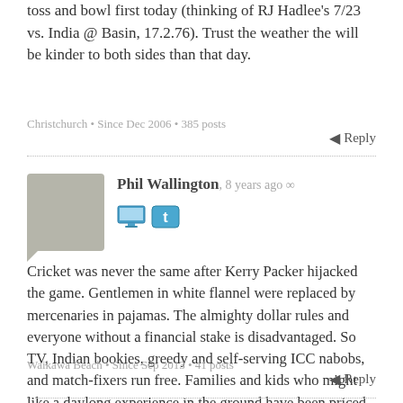toss and bowl first today (thinking of RJ Hadlee's 7/23 vs. India @ Basin, 17.2.76). Trust the weather the will be kinder to both sides than that day.
Christchurch • Since Dec 2006 • 385 posts
Reply
Phil Wallington, 8 years ago ∞
Cricket was never the same after Kerry Packer hijacked the game. Gentlemen in white flannel were replaced by mercenaries in pajamas. The almighty dollar rules and everyone without a financial stake is disadvantaged. So TV, Indian bookies, greedy and self-serving ICC nabobs, and match-fixers run free. Families and kids who might like a daylong experience in the ground have been priced out of the action. NZ will soon be priced out of the game too.
Waikawa Beach • Since Sep 2013 • 41 posts
Reply